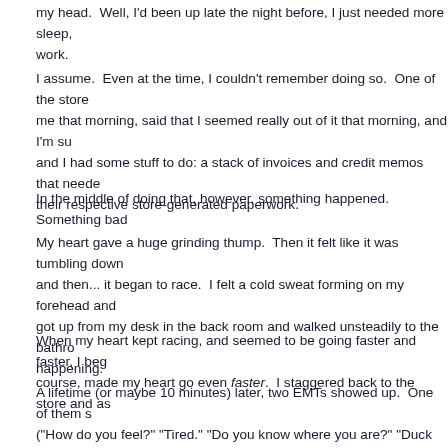my head.  Well, I'd been up late the night before, I just needed more sleep, work.
I assume.  Even at the time, I couldn't remember doing so.  One of the store me that morning, said that I seemed really out of it that morning, and I'm su and I had some stuff to do: a stack of invoices and credit memos that neede their respective store-generated paperwork.
In the middle of doing that, however, something happened.  Something bad
My heart gave a huge grinding thump.  Then it felt like it was tumbling down and then... it began to race.  I felt a cold sweat forming on my forehead and got up from my desk in the back room and walked unsteadily to the bathro happening.
When my heart kept racing, and seemed to be going faster and faster, I beg course, made my heart go even faster.  I staggered back to the store and as
A lifetime (or maybe 10 minutes) later, two EMTs showed up.  One of them s ("How do you feel?" "Tired." "Do you know where you are?" "Duck U." "Do y Batman."), while the other began pumping up a blood pressure cuff on my a second, he said "I can't get a pulse."